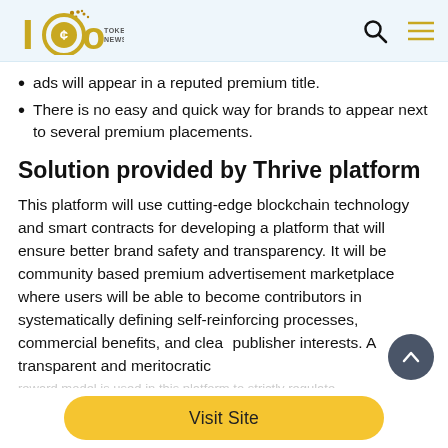[Figure (logo): ICO Token News logo with circular coin icon and 'TOKEN NEWS' text]
ads will appear in a reputed premium title.
There is no easy and quick way for brands to appear next to several premium placements.
Solution provided by Thrive platform
This platform will use cutting-edge blockchain technology and smart contracts for developing a platform that will ensure better brand safety and transparency. It will be community based premium advertisement marketplace where users will be able to become contributors in systematically defining self-reinforcing processes, commercial benefits, and clear publisher interests. A transparent and meritocratic reward model is used in this platform to strictly regulate